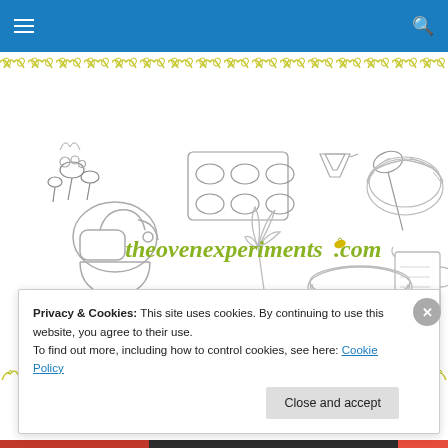theovenexperiments.com navigation header
[Figure (illustration): Website header banner showing baking-related line-art illustrations: measuring spoons, muffin tin, spatula, measuring cups, pie dish, stand mixer, whisk, pie pan, measuring jug, arranged around the site name]
theovenexperiments.com
Privacy & Cookies: This site uses cookies. By continuing to use this website, you agree to their use.
To find out more, including how to control cookies, see here: Cookie Policy
Close and accept